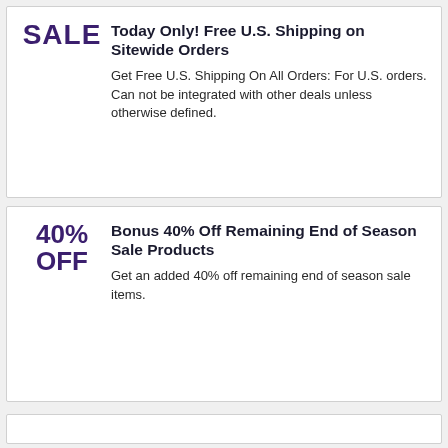Today Only! Free U.S. Shipping on Sitewide Orders
Get Free U.S. Shipping On All Orders: For U.S. orders. Can not be integrated with other deals unless otherwise defined.
Bonus 40% Off Remaining End of Season Sale Products
Get an added 40% off remaining end of season sale items.